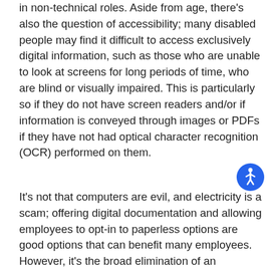in non-technical roles. Aside from age, there's also the question of accessibility; many disabled people may find it difficult to access exclusively digital information, such as those who are unable to look at screens for long periods of time, who are blind or visually impaired. This is particularly so if they do not have screen readers and/or if information is conveyed through images or PDFs if they have not had optical character recognition (OCR) performed on them.
[Figure (other): Accessibility icon — blue circle with white wheelchair/person symbol]
It's not that computers are evil, and electricity is a scam; offering digital documentation and allowing employees to opt-in to paperless options are good options that can benefit many employees. However, it's the broad elimination of an accessible, physical option that can unintentionally cause negative impacts that affect employees' abilities to engage with their healthcare and insurance information, and ultimately impact their enrollment numbers as well. When it comes to